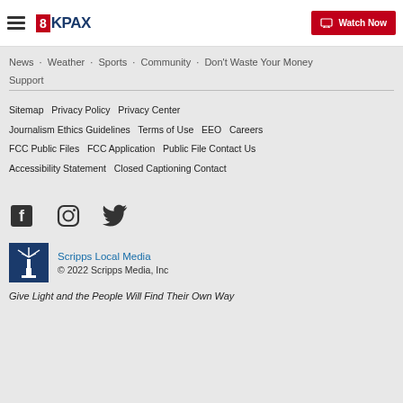8KPAX — Watch Now
News · Weather · Sports · Community · Don't Waste Your Money · Support
Sitemap   Privacy Policy   Privacy Center   Journalism Ethics Guidelines   Terms of Use   EEO   Careers   FCC Public Files   FCC Application   Public File Contact Us   Accessibility Statement   Closed Captioning Contact
[Figure (logo): Social media icons: Facebook, Instagram, Twitter]
[Figure (logo): Scripps Local Media lighthouse logo]
Scripps Local Media
© 2022 Scripps Media, Inc
Give Light and the People Will Find Their Own Way